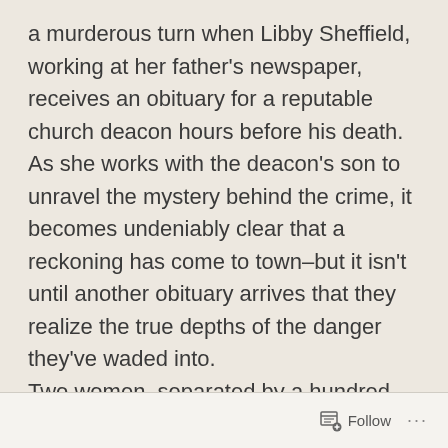a murderous turn when Libby Sheffield, working at her father's newspaper, receives an obituary for a reputable church deacon hours before his death. As she works with the deacon's son to unravel the mystery behind the crime, it becomes undeniably clear that a reckoning has come to town–but it isn't until another obituary arrives that they realize the true depths of the danger they've waded into.
Two women, separated by a hundred years, must uncover the secrets within the borders of their own town before it's too late and they lose their future–or their very souls.
Follow ...